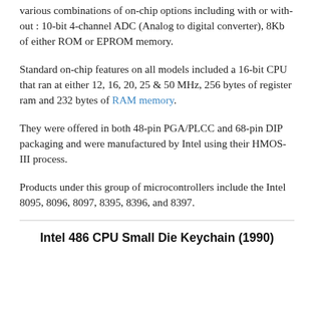various combinations of on-chip options including with or with-out : 10-bit 4-channel ADC (Analog to digital converter), 8Kb of either ROM or EPROM memory.
Standard on-chip features on all models included a 16-bit CPU that ran at either 12, 16, 20, 25 & 50 MHz, 256 bytes of register ram and 232 bytes of RAM memory.
They were offered in both 48-pin PGA/PLCC and 68-pin DIP packaging and were manufactured by Intel using their HMOS-III process.
Products under this group of microcontrollers include the Intel 8095, 8096, 8097, 8395, 8396, and 8397.
Intel 486 CPU Small Die Keychain (1990)